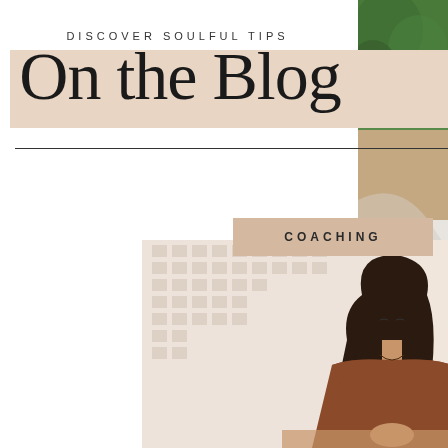DISCOVER SOULFUL TIPS
On the Blog
[Figure (photo): A woman with long dark hair, eyes closed in a meditative pose, hands clasped near her face, sitting at a table by a large window with a city building visible in the background. She wears a rust/terracotta sleeveless top and prayer beads.]
COACHING
[Figure (photo): Right side strip showing a person in a white shirt against green foliage background, partially cropped.]